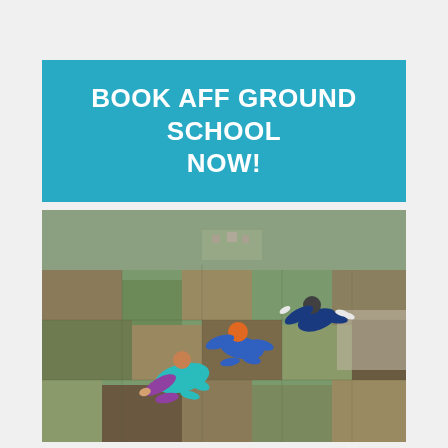BOOK AFF GROUND SCHOOL NOW!
[Figure (photo): Aerial photograph taken during a skydiving session showing three skydivers in freefall above a patchwork of agricultural fields far below. One skydiver wears a bright teal/purple suit, another wears a blue suit with an orange helmet, and a third is in a dark blue suit. The landscape below shows green and brown fields, farmland, and a small town in the distance.]